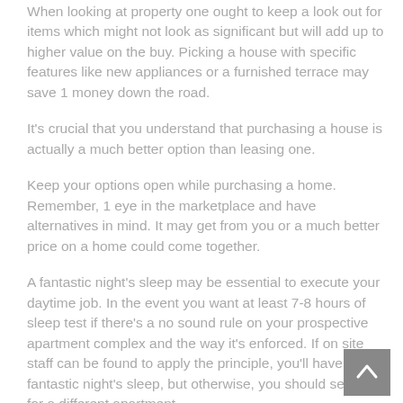When looking at property one ought to keep a look out for items which might not look as significant but will add up to higher value on the buy. Picking a house with specific features like new appliances or a furnished terrace may save 1 money down the road.
It's crucial that you understand that purchasing a house is actually a much better option than leasing one.
Keep your options open while purchasing a home. Remember, 1 eye in the marketplace and have alternatives in mind. It may get from you or a much better price on a home could come together.
A fantastic night's sleep may be essential to execute your daytime job. In the event you want at least 7-8 hours of sleep test if there's a no sound rule on your prospective apartment complex and the way it's enforced. If on site staff can be found to apply the principle, you'll have a fantastic night's sleep, but otherwise, you should search for a different apartment.
Should you have to locate a house to buy in a quick time